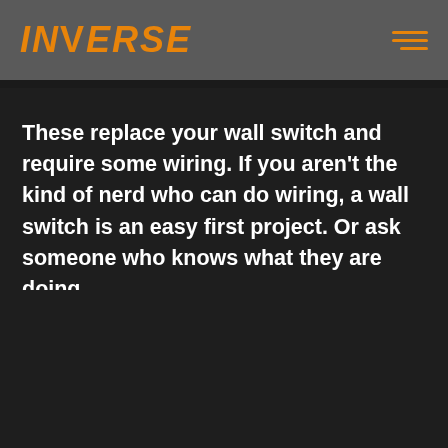INVERSE
These replace your wall switch and require some wiring. If you aren't the kind of nerd who can do wiring, a wall switch is an easy first project. Or ask someone who knows what they are doing.
[Figure (photo): A white smart wall light switch shown against a light gray background, partially overlaid by an orange-bordered frame element.]